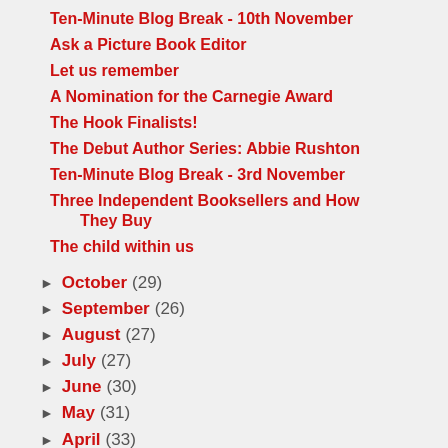Ten-Minute Blog Break - 10th November
Ask a Picture Book Editor
Let us remember
A Nomination for the Carnegie Award
The Hook Finalists!
The Debut Author Series: Abbie Rushton
Ten-Minute Blog Break - 3rd November
Three Independent Booksellers and How They Buy
The child within us
► October (29)
► September (26)
► August (27)
► July (27)
► June (30)
► May (31)
► April (33)
► March (32)
► February (26)